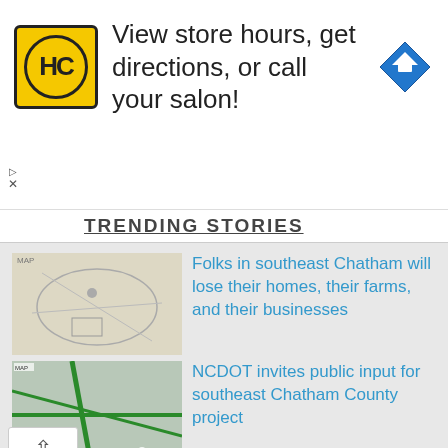[Figure (infographic): HC salon advertisement banner with yellow logo, text 'View store hours, get directions, or call your salon!' and a blue diamond direction sign icon]
TRENDING STORIES
[Figure (map): Aerial/map view of southeast Chatham area showing roads and land parcels]
Folks in southeast Chatham will lose their homes, their farms, and their businesses
[Figure (map): Satellite map view of southeast Chatham County showing green roads on dark background]
NCDOT invites public input for southeast Chatham County project
[Figure (photo): Group photo of many people in dark suits/uniforms]
NC Sheriffs' Association offers $100k reward after 7th deputy shot in 3 weeks
[Figure (photo): Photo of Coca-Cola bottle]
Triangle area Coca-Cola distributor announces plans to move operations to